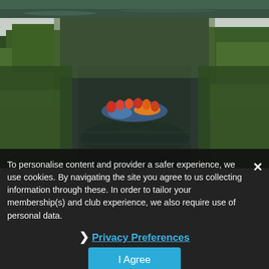[Figure (photo): Top cropped strip of a river/water scene]
[Figure (photo): Group of people kayaking/rafting down a narrow river surrounded by green trees and vegetation]
To personalise content and provider a safer experience, we use cookies. By navigating the site you agree to us collecting information through these. In order to tailor your membership(s) and club experience, we also require use of personal data.
› Privacy Preferences
I Agree
[Figure (photo): Bottom partially visible dark river/outdoor photo]